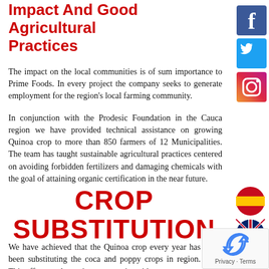Impact And Good Agricultural Practices
The impact on the local communities is of sum importance to Prime Foods. In every project the company seeks to generate employment for the region's local farming community.
In conjunction with the Prodesic Foundation in the Cauca region we have provided technical assistance on growing Quinoa crop to more than 850 farmers of 12 Municipalities. The team has taught sustainable agricultural practices centered on avoiding forbidden fertilizers and damaging chemicals with the goal of attaining organic certification in the near future.
[Figure (infographic): Social media icons: Facebook (blue), Twitter (blue), Instagram (orange/purple)]
[Figure (infographic): Language flag icons: Spanish flag (round), UK flag (round)]
CROP SUBSTITUTION
We have achieved that the Quinoa crop every year has been substituting the coca and poppy crops in region. This offers an alternative opportunity with
[Figure (infographic): reCAPTCHA widget with Privacy and Terms links]